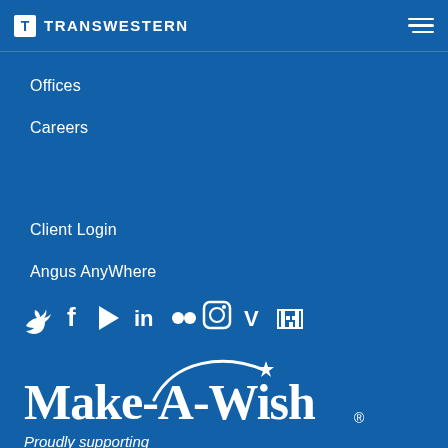TRANSWESTERN
Offices
Careers
Client Login
Angus AnyWhere
[Figure (logo): Social media icons row: Twitter, Facebook, Play, LinkedIn, Flickr, Instagram, Vimeo, building/directory icon]
[Figure (logo): Make-A-Wish logo in white on blue background]
Proudly supporting